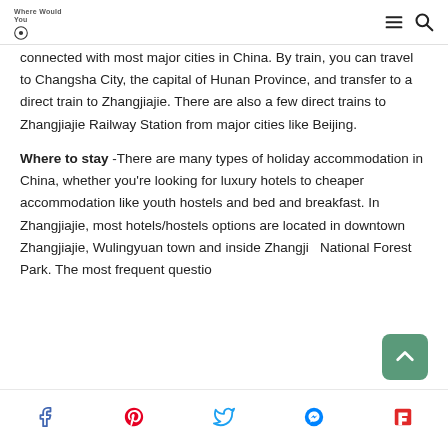Where Would You Go (logo with hamburger menu and search icon)
connected with most major cities in China. By train, you can travel to Changsha City, the capital of Hunan Province, and transfer to a direct train to Zhangjiajie. There are also a few direct trains to Zhangjiajie Railway Station from major cities like Beijing.
Where to stay -There are many types of holiday accommodation in China, whether you’re looking for luxury hotels to cheaper accommodation like youth hostels and bed and breakfast. In Zhangjiajie, most hotels/hostels options are located in downtown Zhangjiajie, Wulingyuan town and inside Zhangji... National Forest Park. The most frequent questio...
Social share icons: Facebook, Pinterest, Twitter, Messenger, Flipboard